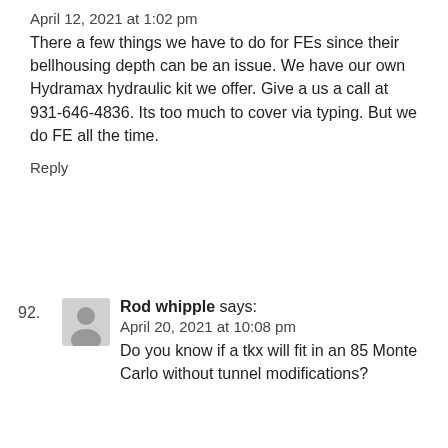April 12, 2021 at 1:02 pm
There a few things we have to do for FEs since their bellhousing depth can be an issue. We have our own Hydramax hydraulic kit we offer. Give a us a call at 931-646-4836. Its too much to cover via typing. But we do FE all the time.
Reply
92.
Rod whipple says:
April 20, 2021 at 10:08 pm
Do you know if a tkx will fit in an 85 Monte Carlo without tunnel modifications?